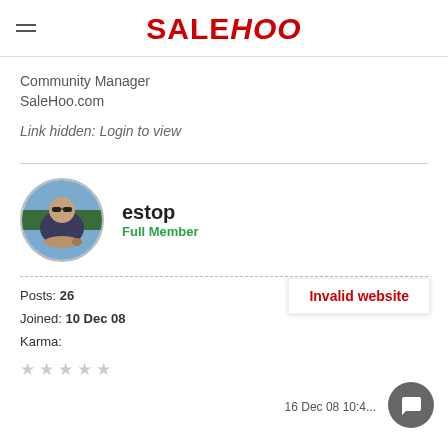SALEHOO
Community Manager
SaleHoo.com
Link hidden: Login to view
estop
Full Member
Posts: 26
Joined: 10 Dec 08
Karma:
Invalid website
16 Dec 08 10:4...